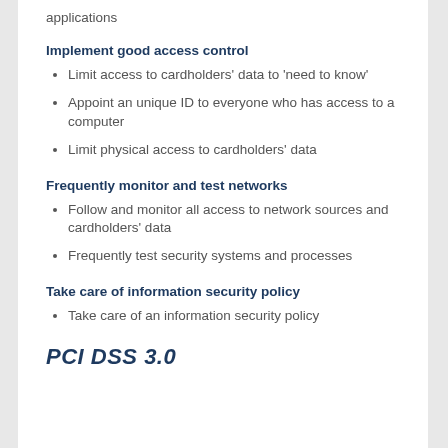applications
Implement good access control
Limit access to cardholders' data to 'need to know'
Appoint an unique ID to everyone who has access to a computer
Limit physical access to cardholders' data
Frequently monitor and test networks
Follow and monitor all access to network sources and cardholders' data
Frequently test security systems and processes
Take care of information security policy
Take care of an information security policy
PCI DSS 3.0